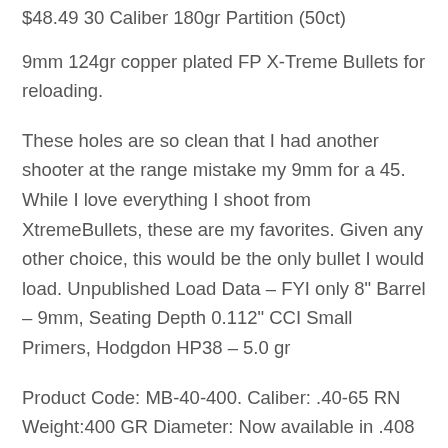$48.49 30 Caliber 180gr Partition (50ct)
9mm 124gr copper plated FP X-Treme Bullets for reloading.
These holes are so clean that I had another shooter at the range mistake my 9mm for a 45. While I love everything I shoot from XtremeBullets, these are my favorites. Given any other choice, this would be the only bullet I would load. Unpublished Load Data – FYI only 8" Barrel – 9mm, Seating Depth 0.112" CCI Small Primers, Hodgdon HP38 – 5.0 gr
Product Code: MB-40-400. Caliber: .40-65 RN Weight:400 GR Diameter: Now available in .408 or .410 THESE ARE